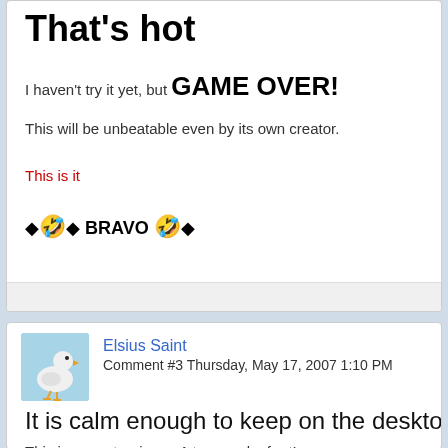That's hot
I haven't try it yet, but GAME OVER!
This will be unbeatable even by its own creator.
This is it
◆🤣◆ BRAVO 🤣◆
Elsius Saint
Comment #3 Thursday, May 17, 2007 1:10 PM
It is calm enough to keep on the desktop until the e
This is a masterpiece - A true work of art!
It doesn't get any better
◆🤣◆ ◆😎◆